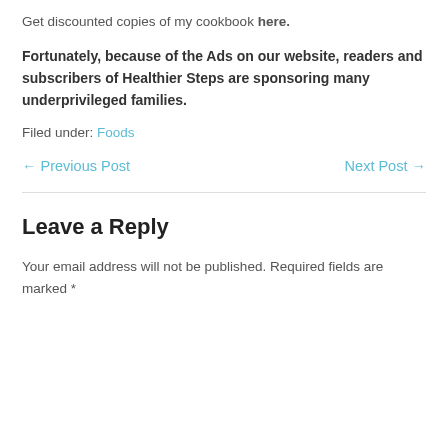Get discounted copies of my cookbook here.
Fortunately, because of the Ads on our website, readers and subscribers of Healthier Steps are sponsoring many underprivileged families.
Filed under: Foods
← Previous Post    Next Post →
Leave a Reply
Your email address will not be published. Required fields are marked *